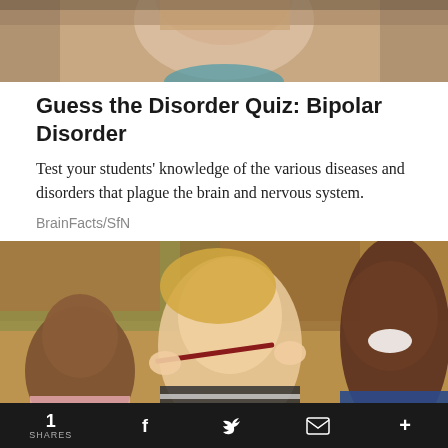[Figure (photo): Close-up photo of a child's face, partially visible from forehead to chin, with blurred background]
Guess the Disorder Quiz: Bipolar Disorder
Test your students' knowledge of the various diseases and disorders that plague the brain and nervous system.
BrainFacts/SfN
[Figure (photo): Children in a classroom; a blonde girl in the center holds a pencil sideways against her upper lip making a funny face, smiling boy visible on the right, another child on the left]
1 SHARES  f  [Twitter bird]  [envelope]  +